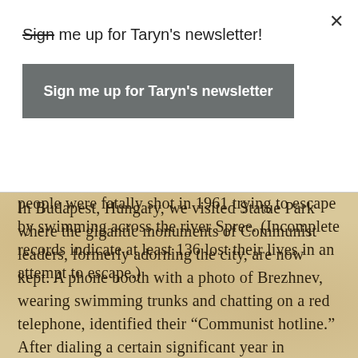Sign me up for Taryn's newsletter!
Sign me up for Taryn's newsletter
people were fatally shot in 1961 trying to escape by swimming across the river Spree. (Incomplete records indicate at least 136 lost their lives in an attempt to escape.)
In Budapest, Hungary, we visited Statue Park where the gigantic monuments of Communist leaders, formerly adorning the city, are now kept. A phone booth with a photo of Brezhnev, wearing swimming trunks and chatting on a red telephone, identified their “Communist hotline.” After dialing a certain significant year in